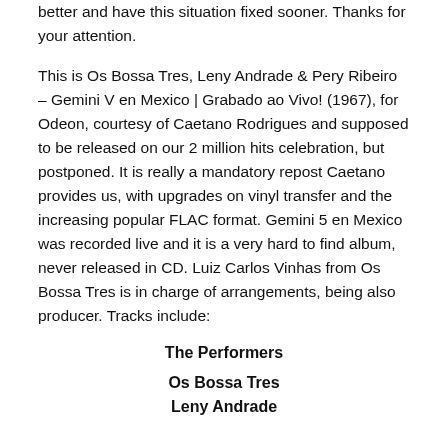better and have this situation fixed sooner. Thanks for your attention.
This is Os Bossa Tres, Leny Andrade & Pery Ribeiro – Gemini V en Mexico | Grabado ao Vivo! (1967), for Odeon, courtesy of Caetano Rodrigues and supposed to be released on our 2 million hits celebration, but postponed. It is really a mandatory repost Caetano provides us, with upgrades on vinyl transfer and the increasing popular FLAC format. Gemini 5 en Mexico was recorded live and it is a very hard to find album, never released in CD. Luiz Carlos Vinhas from Os Bossa Tres is in charge of arrangements, being also producer. Tracks include:
The Performers
Os Bossa Tres
Leny Andrade